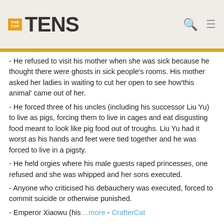THE TOP TENS
- He refused to visit his mother when she was sick because he thought there were ghosts in sick people's rooms. His mother asked her ladies in waiting to cut her open to see how 'this animal' came out of her.
- He forced three of his uncles (including his successor Liu Yu) to live as pigs, forcing them to live in cages and eat disgusting food meant to look like pig food out of troughs. Liu Yu had it worst as his hands and feet were tied together and he was forced to live in a pigsty.
- He held orgies where his male guests raped princesses, one refused and she was whipped and her sons executed.
- Anyone who criticised his debauchery was executed, forced to commit suicide or otherwise punished.
- Emperor Xiaowu (his ...more - CrafterCat